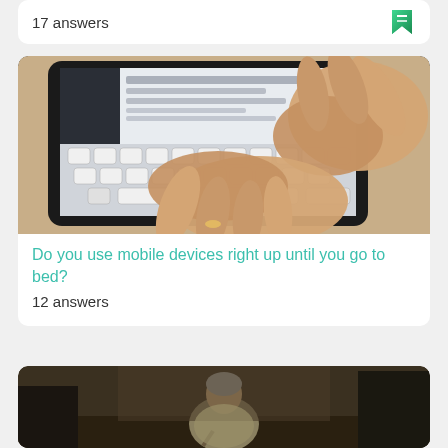17 answers
[Figure (photo): Hands typing on a tablet device (iPad) keyboard, showing the touchscreen keyboard interface]
Do you use mobile devices right up until you go to bed?
12 answers
[Figure (photo): An elderly person sitting, possibly in a public space, partial view]